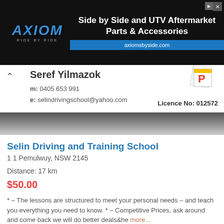[Figure (infographic): Axiom UTV/ATV aftermarket parts advertisement banner with logo and website URL axiomsbyside.com]
Seref Yilmazok
m: 0405 653 991
e: selindrivingschool@yahoo.com
Licence No: 012572
Selin Driving and Training School
1 1 Pemulwuy, NSW 2145
Distance: 17 km
$50.00
* – The lessons are structured to meet your personal needs – and teach you everything you need to know. * – Competitive Prices, ask around and come back we will do better deals&he more...
1  1  Automatic  Show on Map